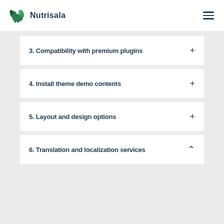Nutrisala
3. Compatibility with premium plugins
4. Install theme demo contents
5. Layout and design options
6. Translation and localization services